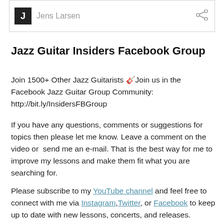Jens Larsen
Jazz Guitar Insiders Facebook Group
Join 1500+ Other Jazz Guitarists 🎸Join us in the Facebook Jazz Guitar Group Community: http://bit.ly/InsidersFBGroup
If you have any questions, comments or suggestions for topics then please let me know. Leave a comment on the video or  send me an e-mail. That is the best way for me to improve my lessons and make them fit what you are searching for.
Please subscribe to my YouTube channel and feel free to connect with me via Instagram, Twitter, or Facebook to keep up to date with new lessons, concerts, and releases.